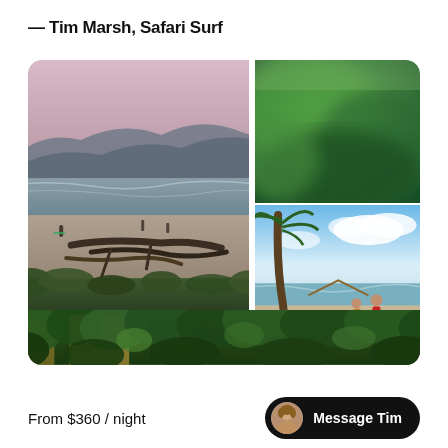— Tim Marsh, Safari Surf
[Figure (photo): Collage of four photos: large left photo of a beach at sunset with driftwood and surfers; top-right blurred green jungle canopy; bottom-right two surfers carrying boards near a palapa; bottom strip of lush jungle with yellow building]
From $360 / night
Message Tim